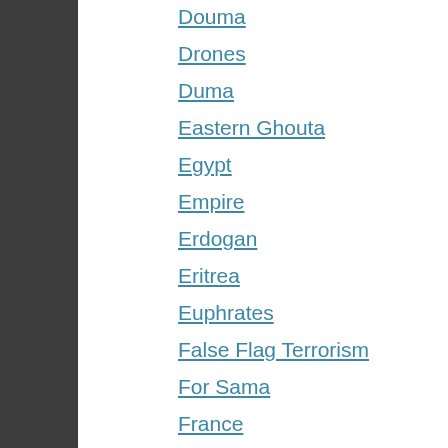Douma
Drones
Duma
Eastern Ghouta
Egypt
Empire
Erdogan
Eritrea
Euphrates
False Flag Terrorism
For Sama
France
Free Syrian Police
Freedom Convoy 2022
Gaslighting
Gatekeepers